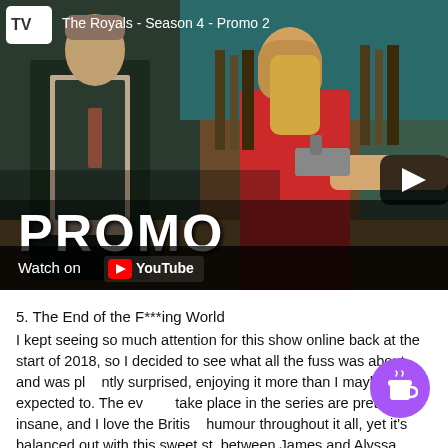[Figure (screenshot): YouTube video thumbnail for 'The Royals - Season 4 - Promo 2' showing two actors in a dramatic scene with PROMO text overlay and Watch on YouTube bar]
5. The End of the F***ing World
I kept seeing so much attention for this show online back at the start of 2018, so I decided to see what all the fuss was about, and was pleasantly surprised, enjoying it more than I maybe expected to. The events that take place in the series are pretty insane, and I love the British dark humour throughout it all, yet it's balanced out with this sweet story between James and Alyssa, which I think most viewers get really invested